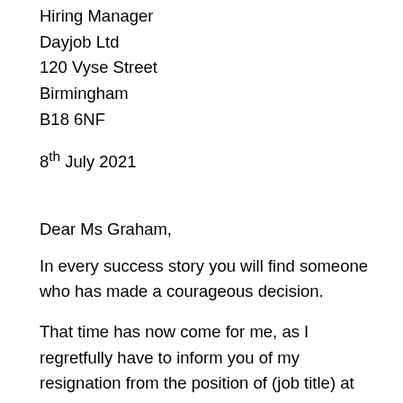Hiring Manager
Dayjob Ltd
120 Vyse Street
Birmingham
B18 6NF
8th July 2021
Dear Ms Graham,
In every success story you will find someone who has made a courageous decision.
That time has now come for me, as I regretfully have to inform you of my resignation from the position of (job title) at (company name).
Paragraph beginning cropped at bottom of page